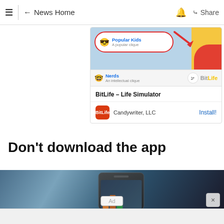☰  ← News Home  🔔  Share
[Figure (screenshot): Screenshot of a BitLife app advertisement card showing 'Popular Kids - A popular clique' highlighted with a red oval and arrow, 'Nerds - An intellectual clique' row, BitLife logo, app name 'BitLife - Life Simulator', Candywriter LLC publisher, and an Install! button.]
Don't download the app
[Figure (photo): Photo of a smartphone being held, showing apps on screen, with a blue-grey blurred background. An X close button is visible in the bottom right.]
Ad